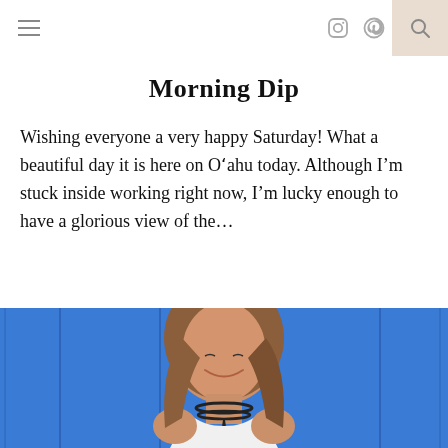navigation bar with hamburger menu, Instagram icon, Pinterest icon, and search button
Morning Dip
Wishing everyone a very happy Saturday! What a beautiful day it is here on Oʾahu today. Although I’m stuck inside working right now, I’m lucky enough to have a glorious view of the…
January 28, 2017
[Figure (photo): Woman with long brown hair wearing a white top and black choker necklace, smiling, photographed against a blue wooden wall background]